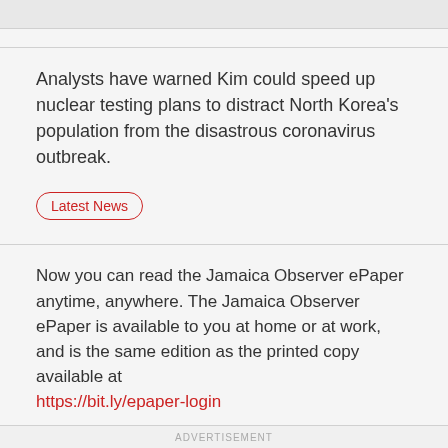Analysts have warned Kim could speed up nuclear testing plans to distract North Korea's population from the disastrous coronavirus outbreak.
Latest News
Now you can read the Jamaica Observer ePaper anytime, anywhere. The Jamaica Observer ePaper is available to you at home or at work, and is the same edition as the printed copy available at https://bit.ly/epaper-login
ADVERTISEMENT